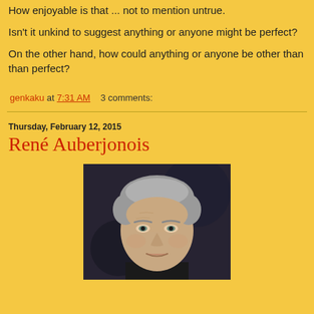How enjoyable is that ... not to mention untrue.
Isn't it unkind to suggest anything or anyone might be perfect?
On the other hand, how could anything or anyone be other than perfect?
genkaku at 7:31 AM    3 comments:
Thursday, February 12, 2015
René Auberjonois
[Figure (photo): Headshot of René Auberjonois, an older man with gray hair against a dark background, looking toward the camera]